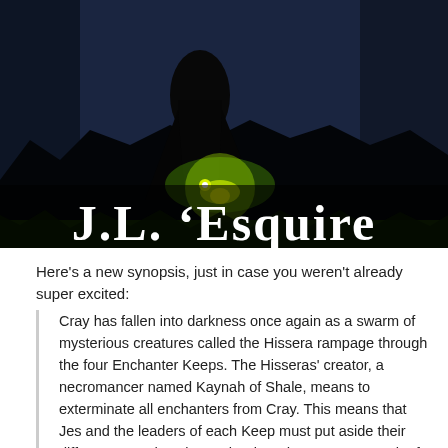[Figure (illustration): Dark fantasy book cover image showing a silhouetted cloaked figure with green glowing light against dark blue and black rocky background. Bold white serif text overlay reads 'J.L. 'Esquire'.]
Here's a new synopsis, just in case you weren't already super excited:
Cray has fallen into darkness once again as a swarm of mysterious creatures called the Hissera rampage through the four Enchanter Keeps. The Hisseras' creator, a necromancer named Kaynah of Shale, means to exterminate all enchanters from Cray. This means that Jes and the leaders of each Keep must put aside their differences and work together in order to stop Kaynah of Shale and save enchanter kind. But doubts linger in